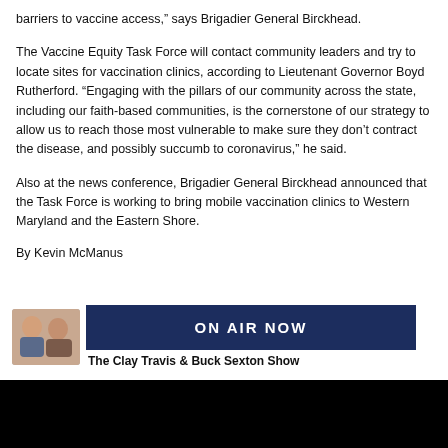barriers to vaccine access,” says Brigadier General Birckhead.
The Vaccine Equity Task Force will contact community leaders and try to locate sites for vaccination clinics, according to Lieutenant Governor Boyd Rutherford. “Engaging with the pillars of our community across the state,  including our faith-based communities, is the cornerstone of our strategy to allow us to reach those most vulnerable to make sure they don’t contract the disease, and possibly succumb to coronavirus,” he said.
Also at the news conference, Brigadier General Birckhead announced that the Task Force is working to bring mobile vaccination clinics to Western Maryland and the Eastern Shore.
By Kevin McManus
[Figure (photo): Photo of two men (radio show hosts), side by side, used as thumbnail for On Air Now section]
ON AIR NOW
The Clay Travis & Buck Sexton Show